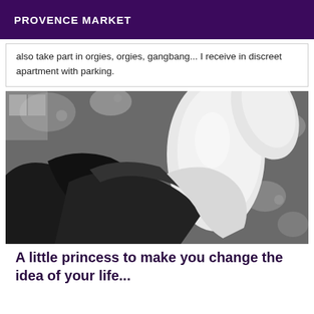PROVENCE MARKET
also take part in orgies, orgies, gangbang... I receive in discreet apartment with parking.
[Figure (photo): Black and white photograph showing a person lying on a floral-patterned bed, wearing black high heels.]
A little princess to make you change the idea of your life...